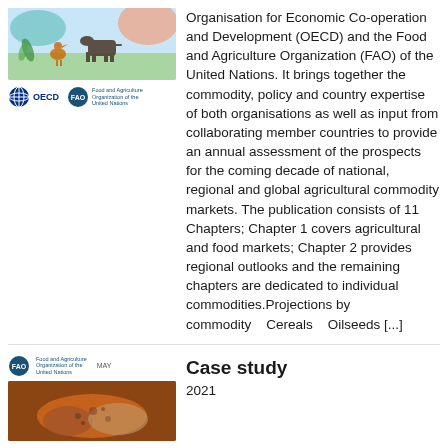[Figure (illustration): Cover illustration showing farm animals (cow, chicken) and plants with teal/orange/blue color theme]
[Figure (logo): OECD logo (globe icon with OECD text) and FAO (Food and Agriculture Organization of the United Nations) logo side by side]
Organisation for Economic Co-operation and Development (OECD) and the Food and Agriculture Organization (FAO) of the United Nations. It brings together the commodity, policy and country expertise of both organisations as well as input from collaborating member countries to provide an annual assessment of the prospects for the coming decade of national, regional and global agricultural commodity markets. The publication consists of 11 Chapters; Chapter 1 covers agricultural and food markets; Chapter 2 provides regional outlooks and the remaining chapters are dedicated to individual commodities.Projections by commodity    Cereals    Oilseeds [...]
[Figure (logo): FAO (Food and Agriculture Organization of the United Nations) logo]
Case study
2021
[Figure (photo): Photo of what appears to be food/agricultural product, brown tones, partially visible at bottom of page]